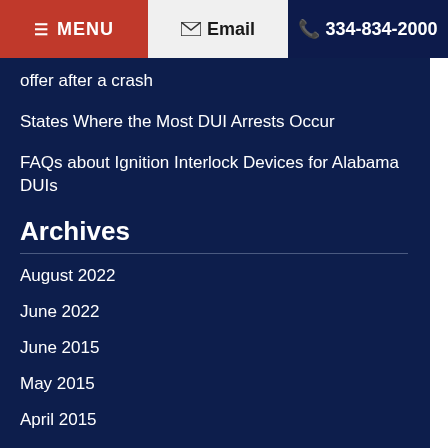MENU | Email | 334-834-2000
offer after a crash
States Where the Most DUI Arrests Occur
FAQs about Ignition Interlock Devices for Alabama DUIs
Archives
August 2022
June 2022
June 2015
May 2015
April 2015